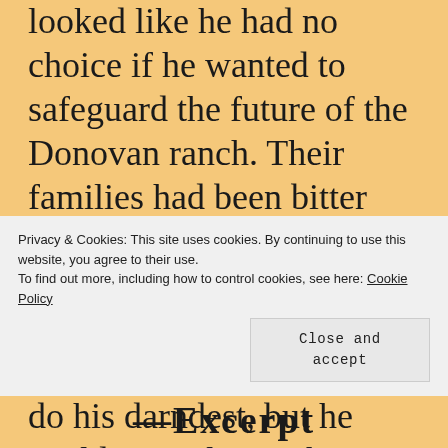looked like he had no choice if he wanted to safeguard the future of the Donovan ranch. Their families had been bitter enemies for years, but now his parents were urging Michael to court Casey, to treat her like a lady. He'd do his darndest, but he could never let on that underneath her pretty new dresses Casey was as wild as ever, and in his arms she was
Privacy & Cookies: This site uses cookies. By continuing to use this website, you agree to their use. To find out more, including how to control cookies, see here: Cookie Policy
Close and accept
Excerpt